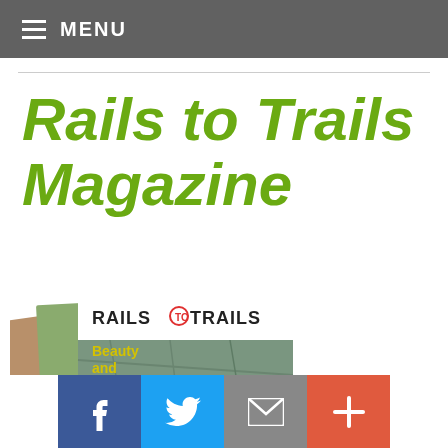MENU
Rails to Trails Magazine
[Figure (photo): Stack of Rails to Trails magazines, front cover showing 'RAILSTOTRAILS' logo with 'Beauty and Strength' text and outdoor trail scene]
Facebook | Twitter | Email | More